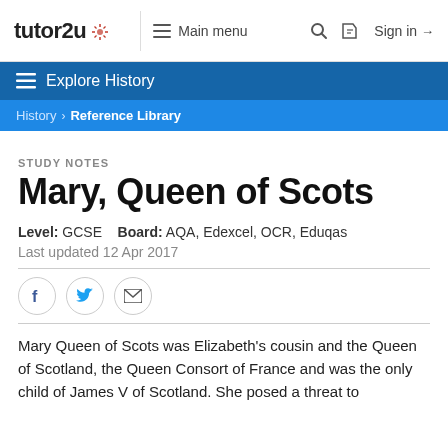tutor2u  ☰ Main menu  🔍  🛒  Sign in →
☰ Explore History
History > Reference Library
STUDY NOTES
Mary, Queen of Scots
Level: GCSE   Board: AQA, Edexcel, OCR, Eduqas
Last updated 12 Apr 2017
[Figure (other): Social sharing buttons: Facebook, Twitter, Email]
Mary Queen of Scots was Elizabeth's cousin and the Queen of Scotland, the Queen Consort of France and was the only child of James V of Scotland. She posed a threat to